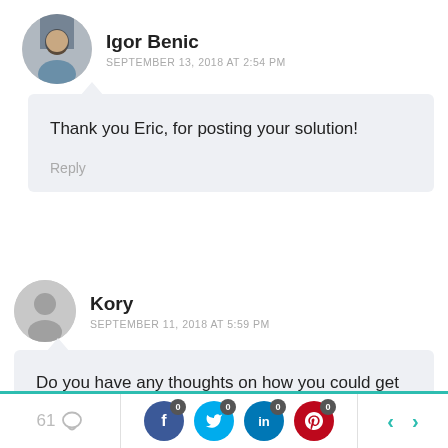Igor Benic
SEPTEMBER 13, 2018 AT 2:54 PM
Thank you Eric, for posting your solution!
Reply
Kory
SEPTEMBER 11, 2018 AT 5:59 PM
Do you have any thoughts on how you could get the selected post data in a form that isn't rendered? My
61  [social share buttons: Facebook 0, Twitter 0, LinkedIn 0, Pinterest 0] < >